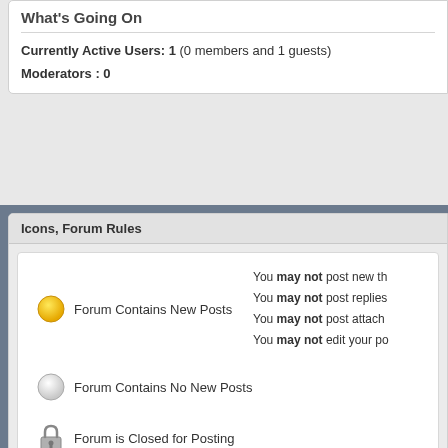What's Going On
Currently Active Users: 1 (0 members and 1 guests)
Moderators : 0
Icons, Forum Rules
Forum Contains New Posts
Forum Contains No New Posts
Forum is Closed for Posting
You may not post new th
You may not post replies
You may not post attach
You may not edit your po
↑ Top
Privacy Policy
All times are GMT -4. The time now is 03:04 PM.
All conte